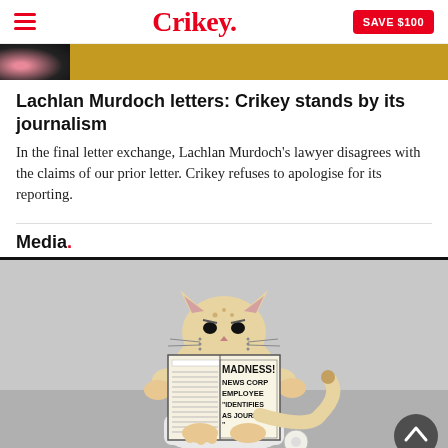Crikey. SAVE $100
[Figure (photo): Top partial image strip showing dark background with pink/skin tone on the left and golden/yellow background on the right]
Lachlan Murdoch letters: Crikey stands by its journalism
In the final letter exchange, Lachlan Murdoch's lawyer disagrees with the claims of our prior letter. Crikey refuses to apologise for its reporting.
Media.
[Figure (illustration): Cartoon illustration of a cat sitting on a toilet reading a newspaper with the headline 'MADNESS! NEWS CORP EMPLOYEE "IDENTIFIES AS JOURNALIST"' on a grey background. A scroll-to-top arrow button is visible in the bottom right corner.]